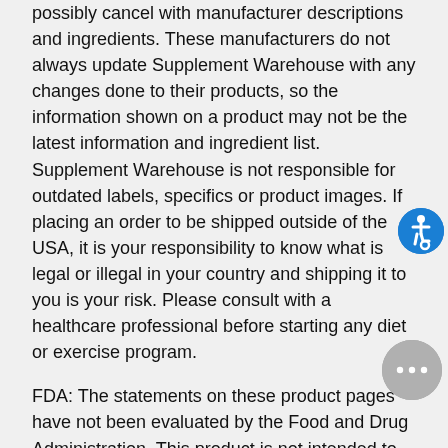possibly cancel with manufacturer descriptions and ingredients. These manufacturers do not always update Supplement Warehouse with any changes done to their products, so the information shown on a product may not be the latest information and ingredient list. Supplement Warehouse is not responsible for outdated labels, specifics or product images. If placing an order to be shipped outside of the USA, it is your responsibility to know what is legal or illegal in your country and shipping it to you is your risk. Please consult with a healthcare professional before starting any diet or exercise program.
FDA: The statements on these product pages have not been evaluated by the Food and Drug Administration. This product is not intended to diagnose, treat, cure or prevent any disease.
California Proposition 65 WARNING: Consuming this